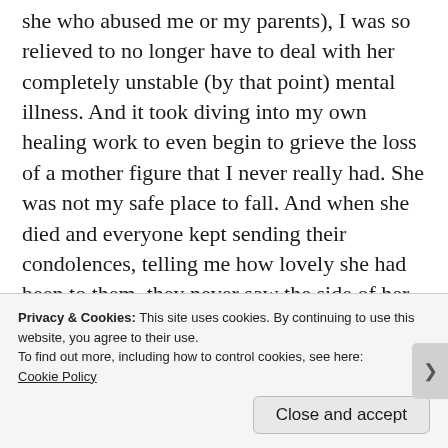she who abused me or my parents), I was so relieved to no longer have to deal with her completely unstable (by that point) mental illness. And it took diving into my own healing work to even begin to grieve the loss of a mother figure that I never really had. She was not my safe place to fall. And when she died and everyone kept sending their condolences, telling me how lovely she had been to them, they never saw the side of her that would rip me to shreds. And then there was dealing with the house and things, that got some other effed
Privacy & Cookies: This site uses cookies. By continuing to use this website, you agree to their use.
To find out more, including how to control cookies, see here:
Cookie Policy
Close and accept